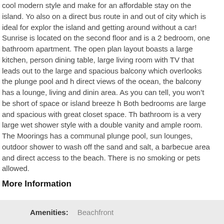cool modern style and make for an affordable stay on the island. You are also on a direct bus route in and out of city which is ideal for exploring the island and getting around without a car! Sunrise is located on the second floor and is a 2 bedroom, one bathroom apartment. The open plan layout boasts a large kitchen, person dining table, large living room with TV that leads out to the large and spacious balcony which overlooks the plunge pool and has direct views of the ocean, the balcony has a lounge, living and dining area. As you can tell, you won't be short of space or island breeze here. Both bedrooms are large and spacious with great closet space. The bathroom is a very large wet shower style with a double vanity and ample room. The Moorings has a communal plunge pool, sun lounges, outdoor shower to wash off the sand and salt, a barbecue area and direct access to the beach. There is no smoking or pets allowed.
More Information
Amenities: Beachfront